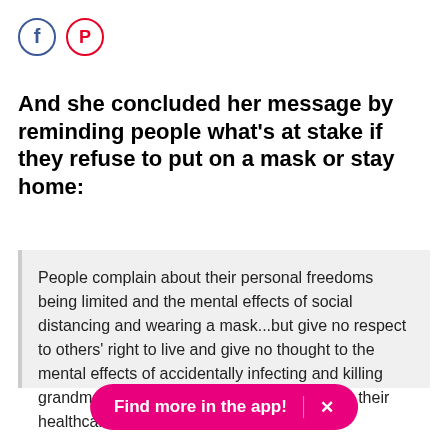[Figure (other): Facebook and Pinterest social share icon circles at the top left]
And she concluded her message by reminding people what's at stake if they refuse to put on a mask or stay home:
People complain about their personal freedoms being limited and the mental effects of social distancing and wearing a mask...but give no respect to others' right to live and give no thought to the mental effects of accidentally infecting and killing grandma or the trauma they are imposing on their healthcare workers. This is devastating
Find more in the app! ×